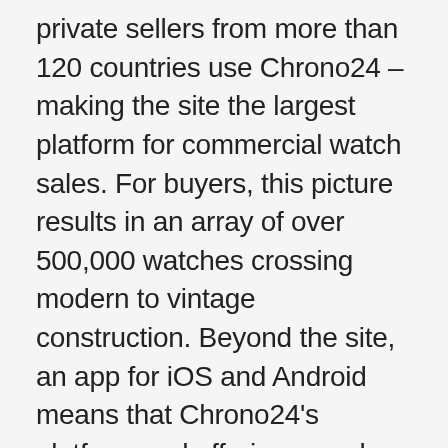private sellers from more than 120 countries use Chrono24 – making the site the largest platform for commercial watch sales. For buyers, this picture results in an array of over 500,000 watches crossing modern to vintage construction. Beyond the site, an app for iOS and Android means that Chrono24's platform and offerings can be access at any time, from anywhere. For sellers, Chrono24 increasingly has an edge over other watch marketplaces due to three factors: a 6.5-percent commission fee, free escrow service, and a reliable sales rate – about 90 percent, according to the platform – through a direct-to-consumer model. This combination cuts out intermediaries, meaning sellers keep more of the cost, and offers access to roughly 9 million monthly buyers. As well, support is available in at